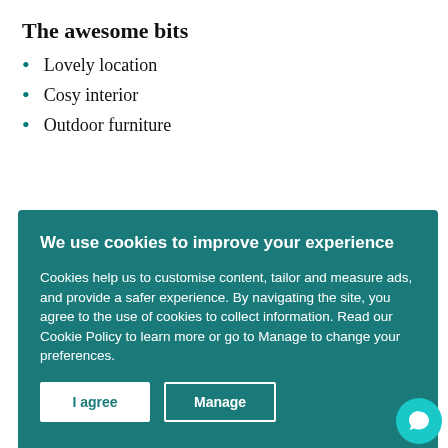The awesome bits
Lovely location
Cosy interior
Outdoor furniture
We use cookies to improve your experience
Cookies help us to customise content, tailor and measure ads, and provide a safer experience. By navigating the site, you agree to the use of cookies to collect information. Read our Cookie Policy to learn more or go to Manage to change your preferences.
I agree | Manage